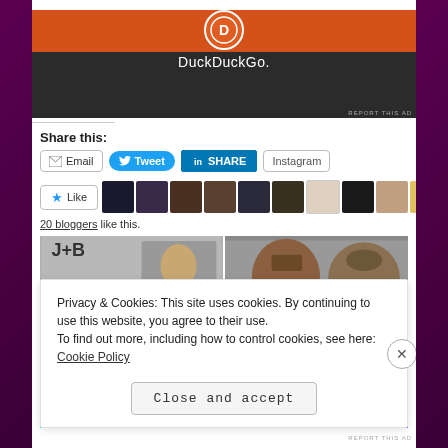[Figure (screenshot): DuckDuckGo advertisement banner with dark background and orange header]
REPORT THIS AD
Share this:
Email  Tweet  SHARE  Instagram
Like
20 bloggers like this.
[Figure (photo): Two side-by-side photo strips showing people's faces]
Privacy & Cookies: This site uses cookies. By continuing to use this website, you agree to their use. To find out more, including how to control cookies, see here: Cookie Policy
Close and accept